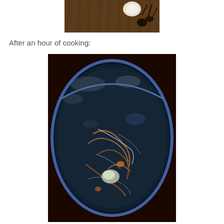[Figure (photo): Close-up photo of raw tarantula or spider parts with fur/hair visible, showing legs and body segments before cooking]
After an hour of cooking:
[Figure (photo): Overhead view of a dark cooking pot or wok containing a dark broth/liquid with cooked spider/tarantula parts visible, after one hour of cooking]